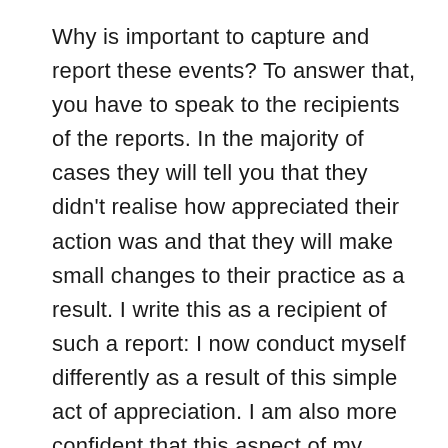Why is important to capture and report these events? To answer that, you have to speak to the recipients of the reports. In the majority of cases they will tell you that they didn't realise how appreciated their action was and that they will make small changes to their practice as a result. I write this as a recipient of such a report: I now conduct myself differently as a result of this simple act of appreciation. I am also more confident that this aspect of my practice will benefit staff and patients.
Share on Twitter